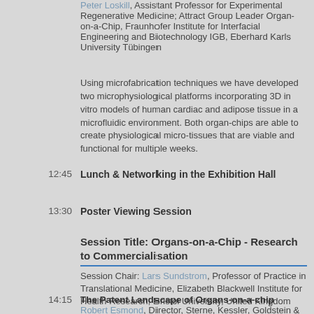Peter Loskill, Assistant Professor for Experimental Regenerative Medicine; Attract Group Leader Organ-on-a-Chip, Fraunhofer Institute for Interfacial Engineering and Biotechnology IGB, Eberhard Karls University Tübingen
Using microfabrication techniques we have developed two microphysiological platforms incorporating 3D in vitro models of human cardiac and adipose tissue in a microfluidic environment. Both organ-chips are able to create physiological micro-tissues that are viable and functional for multiple weeks.
12:45   Lunch & Networking in the Exhibition Hall
13:30   Poster Viewing Session
Session Title: Organs-on-a-Chip - Research to Commercialisation
Session Chair: Lars Sundstrom, Professor of Practice in Translational Medicine, Elizabeth Blackwell Institute for Health Research, Bristol University, United Kingdom
14:15   The Patent Landscape of Organs-on-a-chip
Robert Esmond, Director, Sterne, Kessler, Goldstein & Fox P.L.L.C